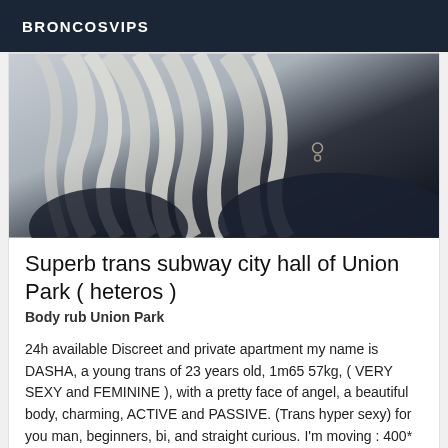BRONCOSVIPS
[Figure (photo): Close-up photo of a person with long platinum/white-blonde hair, wearing an earring, dark background]
Superb trans subway city hall of Union Park ( heteros )
Body rub Union Park
24h available Discreet and private apartment my name is DASHA, a young trans of 23 years old, 1m65 57kg, ( VERY SEXY and FEMININE ), with a pretty face of angel, a beautiful body, charming, ACTIVE and PASSIVE. (Trans hyper sexy) for you man, beginners, bi, and straight curious. I'm moving : 400* no longer negotiable For more information call me soon...